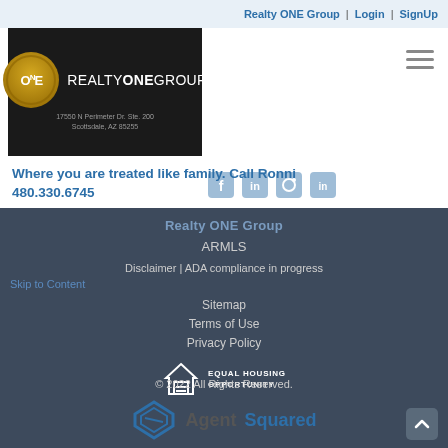Realty ONE Group | Login | SignUp
[Figure (logo): Realty ONE Group logo with gold circle on black background. Address: 17550 N Perimeter Dr. Ste. 200, Scottsdale, AZ 85255]
Where you are treated like family. Call Ronni 480.330.6745
Realty ONE Group
ARMLS
Disclaimer | ADA compliance in progress
Skip to Content
Sitemap
Terms of Use
Privacy Policy
[Figure (logo): Equal Housing Opportunity logo — house with equal sign and text EQUAL HOUSING OPPORTUNITY]
© 2022 All Rights Reserved.
[Figure (logo): AgentSquared logo with stylized A icon in blue and text AgentSquared]